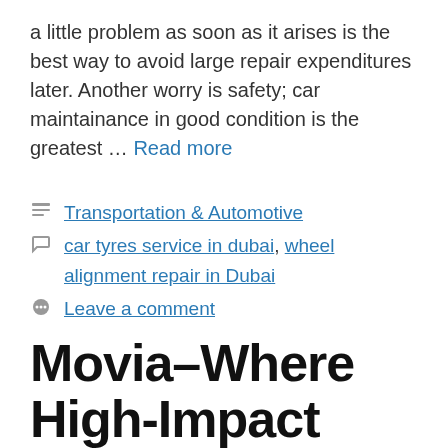a little problem as soon as it arises is the best way to avoid large repair expenditures later. Another worry is safety; car maintainance in good condition is the greatest … Read more
Categories: Transportation & Automotive
Tags: car tyres service in dubai, wheel alignment repair in Dubai
Leave a comment
Movia–Where High-Impact Mobile Billboards meet